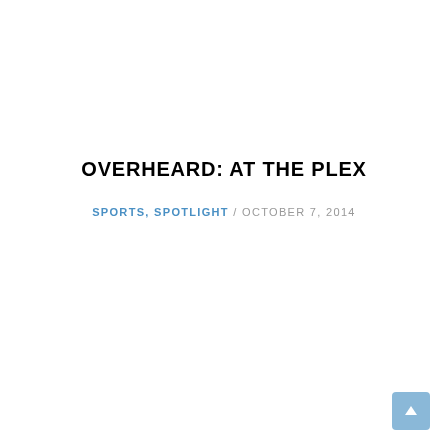OVERHEARD: AT THE PLEX
SPORTS, SPOTLIGHT / OCTOBER 7, 2014